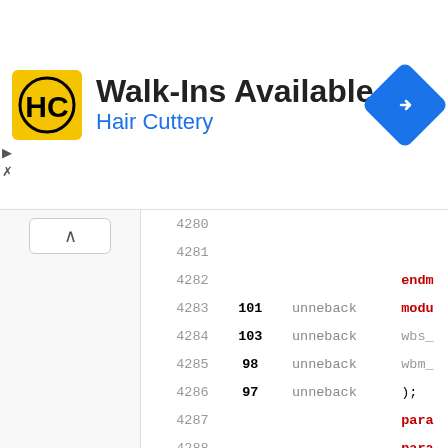[Figure (screenshot): Advertisement banner for Hair Cuttery showing logo, 'Walk-Ins Available' text, and navigation icon]
| Line | Hits | Type | Code |
| --- | --- | --- | --- |
| 4281 |  |  |  |
| 4282 |  |  | endm… |
| 4283 | 101 | unneback | modu… |
| 4284 | 103 | unneback | wbs_… |
| 4285 | 98 | unneback | wbm_… |
| 4286 | 97 | unneback | ); |
| 4287 |  |  | para… |
| 4288 |  |  | para… |
| 4289 |  |  | para… |
| 4290 | 124 | unneback | //lo… |
| 4291 |  |  | loca… |
| 4292 | 126 | unneback |  |
| 4293 |  |  |  |
| 4294 |  |  |  |
| 4295 |  |  |  |